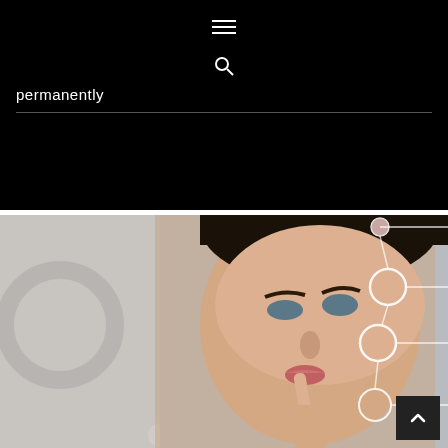permanently
[Figure (photo): Woman's face with skin analysis overlay circles and connecting lines indicating areas of skin treatment or concern, photographed in a clinical/beauty setting]